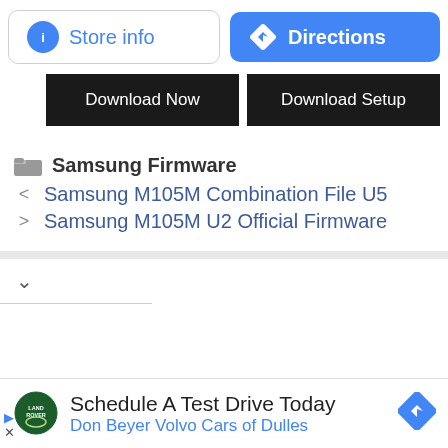[Figure (screenshot): Store info button with blue circle info icon and blue text on white rounded border]
[Figure (screenshot): Directions button with white diamond arrow icon on solid blue rounded button]
[Figure (screenshot): Download Now button - dark background white text]
[Figure (screenshot): Download Setup button - dark background white text]
Samsung Firmware
Samsung M105M Combination File U5
Samsung M105M U2 Official Firmware
[Figure (screenshot): Dropdown chevron bar]
[Figure (screenshot): Land Rover ad: Schedule A Test Drive Today - Don Beyer Volvo Cars of Dulles]